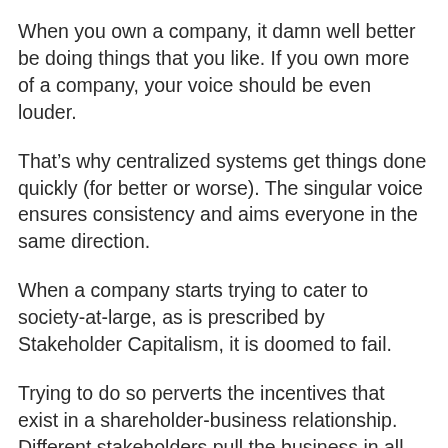When you own a company, it damn well better be doing things that you like. If you own more of a company, your voice should be even louder.
That's why centralized systems get things done quickly (for better or worse). The singular voice ensures consistency and aims everyone in the same direction.
When a company starts trying to cater to society-at-large, as is prescribed by Stakeholder Capitalism, it is doomed to fail.
Trying to do so perverts the incentives that exist in a shareholder-business relationship. Different stakeholders pull the business in all